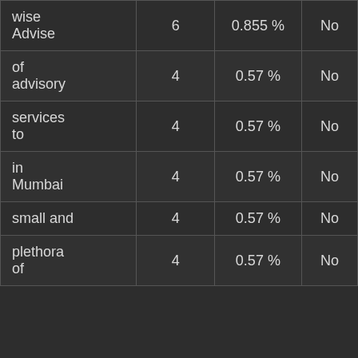| wise Advise | 6 | 0.855 % | No |
| of advisory | 4 | 0.57 % | No |
| services to | 4 | 0.57 % | No |
| in Mumbai | 4 | 0.57 % | No |
| small and | 4 | 0.57 % | No |
| plethora of | 4 | 0.57 % | No |